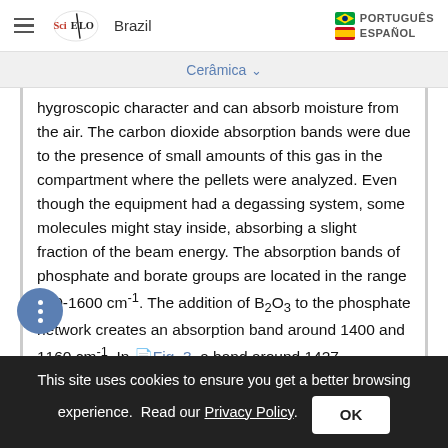SciELO Brazil | PORTUGUÊS | ESPAÑOL
Cerâmica
hygroscopic character and can absorb moisture from the air. The carbon dioxide absorption bands were due to the presence of small amounts of this gas in the compartment where the pellets were analyzed. Even though the equipment had a degassing system, some molecules might stay inside, absorbing a slight fraction of the beam energy. The absorption bands of phosphate and borate groups are located in the range 400-1600 cm⁻¹. The addition of B₂O₃ to the phosphate network creates an absorption band around 1400 and 1160 cm⁻¹. In Fig. 3, a band around 1427
This site uses cookies to ensure you get a better browsing experience. Read our Privacy Policy. OK